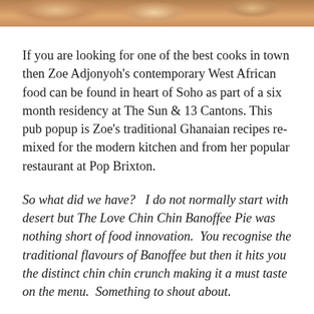[Figure (photo): Partial photo strip at top of page showing food, cropped]
If you are looking for one of the best cooks in town then Zoe Adjonyoh's contemporary West African food can be found in heart of Soho as part of a six month residency at The Sun & 13 Cantons. This pub popup is Zoe's traditional Ghanaian recipes re-mixed for the modern kitchen and from her popular restaurant at Pop Brixton.
So what did we have?  I do not normally start with desert but The Love Chin Chin Banoffee Pie was nothing short of food innovation.  You recognise the traditional flavours of Banoffee but then it hits you the distinct chin chin crunch making it a must taste on the menu.  Something to shout about.